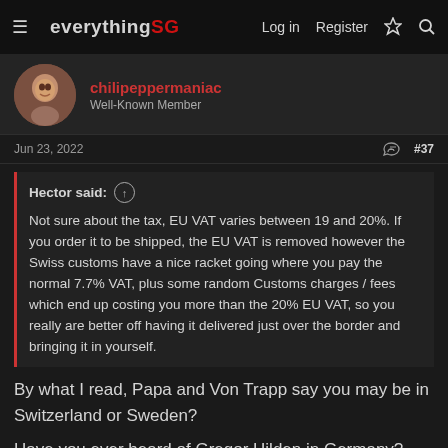everything SG  Log in  Register
chilipeppermaniac
Well-Known Member
Jun 23, 2022  #37
Hector said:
Not sure about the tax, EU VAT varies between 19 and 20%. If you order it to be shipped, the EU VAT is removed however the Swiss customs have a nice racket going where you pay the normal 7.7% VAT, plus some random Customs charges / fees which end up costing you more than the 20% EU VAT, so you really are better off having it delivered just over the border and bringing it in yourself.
By what I read, Papa and Von Trapp say you may be in Switzerland or Sweden?
Have you ever heard of Gregor Hilden in Germany? See if maybe he can help you.